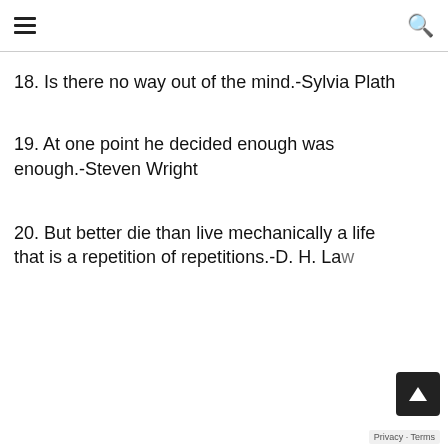≡  🔍
18. Is there no way out of the mind.-Sylvia Plath
19. At one point he decided enough was enough.-Steven Wright
20. But better die than live mechanically a life that is a repetition of repetitions.-D. H. La…
Privacy · Terms